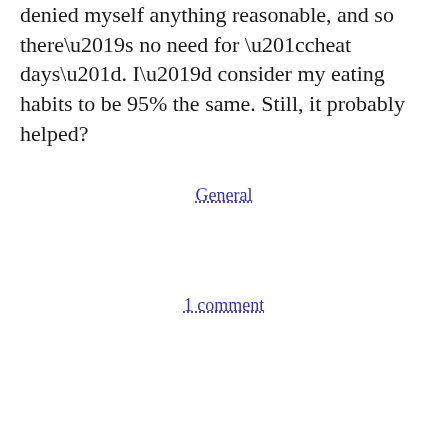denied myself anything reasonable, and so there’s no need for “cheat days”. I’d consider my eating habits to be 95% the same. Still, it probably helped?
General
1 comment